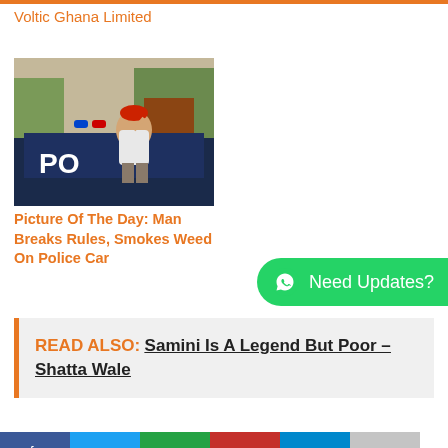Voltic Ghana Limited
[Figure (photo): Photo of a man sitting on the hood of a police car, wearing a red hat and white shirt, with trees in background]
Picture Of The Day: Man Breaks Rules, Smokes Weed On Police Car
Need Updates?
READ ALSO:  Samini Is A Legend But Poor – Shatta Wale